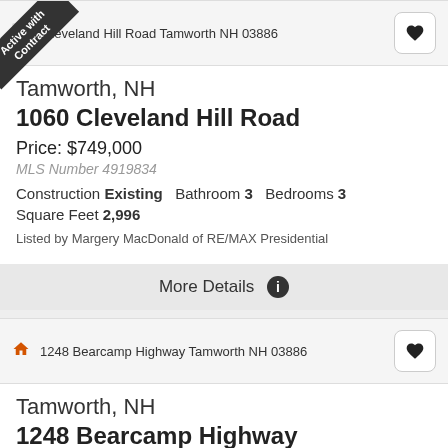Cleveland Hill Road Tamworth NH 03886
Active with Contract
Tamworth, NH
1060 Cleveland Hill Road
Price: $749,000
MLS Number 4919834
Construction Existing    Bathroom 3    Bedrooms 3
Square Feet 2,996
Listed by Margery MacDonald of RE/MAX Presidential
More Details
1248 Bearcamp Highway Tamworth NH 03886
Tamworth, NH
1248 Bearcamp Highway
Price: $575,000